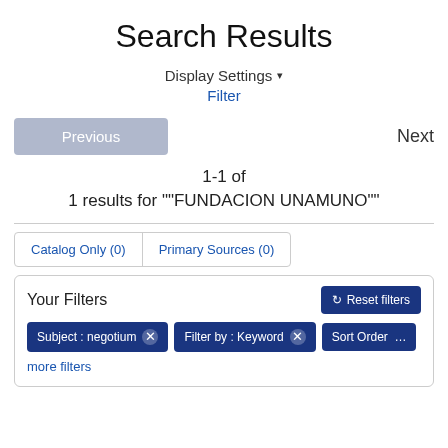Search Results
Display Settings ▾
Filter
Previous
Next
1-1 of
1 results for ""FUNDACION UNAMUNO""
Catalog Only (0)   Primary Sources (0)
Your Filters
Reset filters
Subject : negotium ✕
Filter by : Keyword ✕
Sort Order ...
more filters